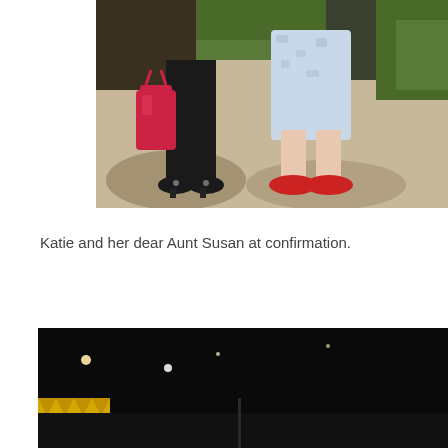[Figure (photo): Two people standing outdoors on a sidewalk, photo cropped to show lower bodies. One person wears black pants and black heels, carrying a red/pink handbag. The other wears a light blue/white printed dress and red flat shoes. Background shows green shrubbery and sunlit pavement.]
Katie and her dear Aunt Susan at confirmation.
[Figure (photo): Dark nighttime or low-light scene with small bright lights/orbs visible. In the lower left corner there is a yellow geometric pattern (triangles). A vertical divider splits the lower portion of the image.]